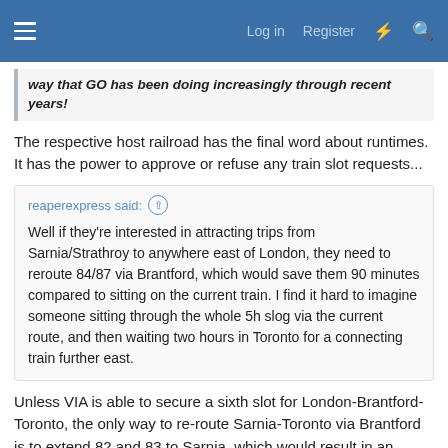Log in  Register
way that GO has been doing increasingly through recent years!
The respective host railroad has the final word about runtimes. It has the power to approve or refuse any train slot requests...
reaperexpress said: Well if they're interested in attracting trips from Sarnia/Strathroy to anywhere east of London, they need to reroute 84/87 via Brantford, which would save them 90 minutes compared to sitting on the current train. I find it hard to imagine someone sitting through the whole 5h slog via the current route, and then waiting two hours in Toronto for a connecting train further east.
Unless VIA is able to secure a sixth slot for London-Brantford-Toronto, the only way to re-route Sarnia-Toronto via Brantford is to extend 82 and 83 to Sarnia, which would result in an ungodly departure time in Sarnia (something like 5:15) and a high risk that train 82 already departs late in London. As long as Sarnia-London is partly single-tracked, the decision between inconveniencing passengers from Sarnia (which want a shorter travel time to